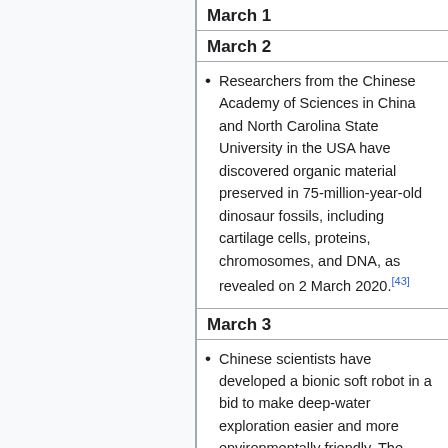March 1
March 2
Researchers from the Chinese Academy of Sciences in China and North Carolina State University in the USA have discovered organic material preserved in 75-million-year-old dinosaur fossils, including cartilage cells, proteins, chromosomes, and DNA, as revealed on 2 March 2020.[43]
March 3
Chinese scientists have developed a bionic soft robot in a bid to make deep-water exploration easier and more environmentally friendly. The fishlike robot can withstand the high pressure of the deep sea with its